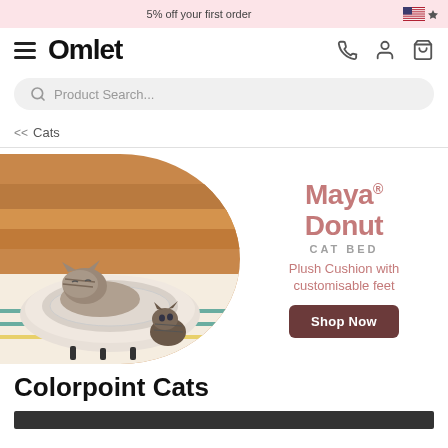5% off your first order
Omlet
Product Search...
<< Cats
[Figure (photo): Two cats near a white plush donut cat bed on a colorful rug in front of a tan leather sofa. One cat is resting inside the bed, another kitten is sitting beside it.]
Maya® Donut CAT BED
Plush Cushion with customisable feet
Shop Now
Colorpoint Cats